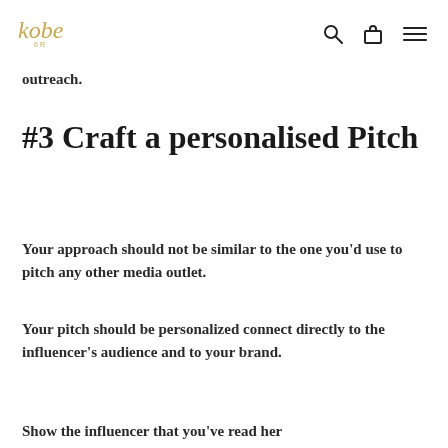kobe [logo] [search icon] [bag icon] [menu icon]
…intended and destroy potential brand outreach.
#3 Craft a personalised Pitch
Your approach should not be similar to the one you'd use to pitch any other media outlet.
Your pitch should be personalized connect directly to the influencer's audience and to your brand.
Show the influencer that you've read her